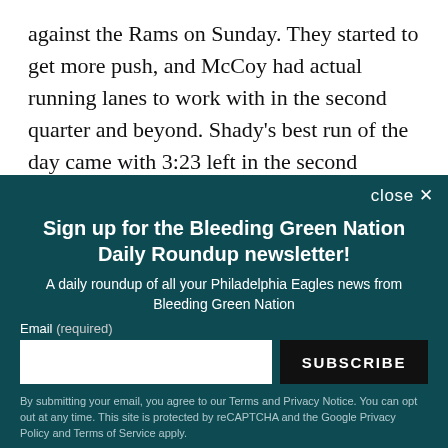against the Rams on Sunday. They started to get more push, and McCoy had actual running lanes to work with in the second quarter and beyond. Shady's best run of the day came with 3:23 left in the second quarter where Philly lined up in a singleback set and McCoy made one cut that allowed him to bounce it outside for
Sign up for the Bleeding Green Nation Daily Roundup newsletter!
A daily roundup of all your Philadelphia Eagles news from Bleeding Green Nation
Email (required)
SUBSCRIBE
By submitting your email, you agree to our Terms and Privacy Notice. You can opt out at any time. This site is protected by reCAPTCHA and the Google Privacy Policy and Terms of Service apply.